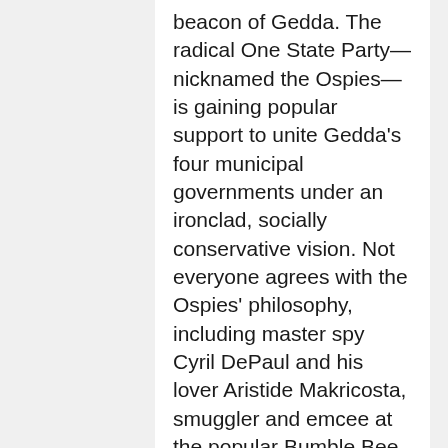beacon of Gedda. The radical One State Party—nicknamed the Ospies—is gaining popular support to unite Gedda's four municipal governments under an ironclad, socially conservative vision. Not everyone agrees with the Ospies' philosophy, including master spy Cyril DePaul and his lover Aristide Makricosta, smuggler and emcee at the popular Bumble Bee Cabaret. When Cyril's cover is blown on a mission, however, he must become a turncoat in exchange for his life. Returning to Amberlough under the Ospies' watchful eye, Cyril enters a complex game of deception. One of his concerns is safeguarding Aristide, who refuses to let anyone—the crooked city police or the homophobic Ospies—dictate his life